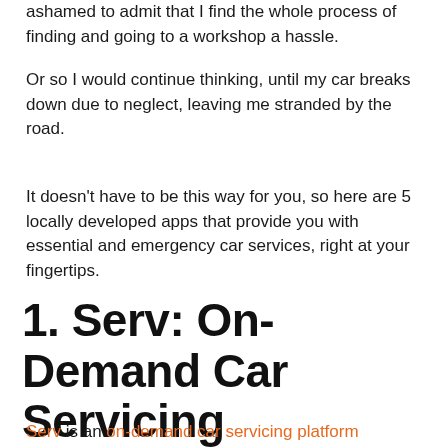ashamed to admit that I find the whole process of finding and going to a workshop a hassle.
Or so I would continue thinking, until my car breaks down due to neglect, leaving me stranded by the road.
It doesn't have to be this way for you, so here are 5 locally developed apps that provide you with essential and emergency car services, right at your fingertips.
1. Serv: On-Demand Car Servicing
Serv is an on-demand car servicing platform